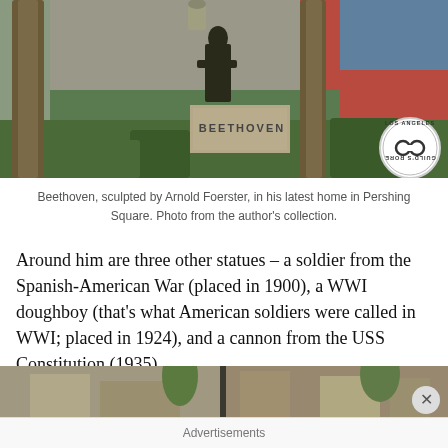[Figure (photo): Beethoven statue sculpted by Arnold Foerster, standing on a pedestal labeled BEETHOVEN, surrounded by palm trees and greenery in Pershing Square. A Los Angeles Explorers Guild badge/logo is visible in the lower right of the photo.]
Beethoven, sculpted by Arnold Foerster, in his latest home in Pershing Square. Photo from the author’s collection.
Around him are three other statues – a soldier from the Spanish-American War (placed in 1900), a WWI doughboy (that’s what American soldiers were called in WWI; placed in 1924), and a cannon from the USS Constitution (1935).
[Figure (photo): Partial view of a street scene in Los Angeles, showing buildings and palm trees, partially cropped at the bottom of the page.]
Advertisements